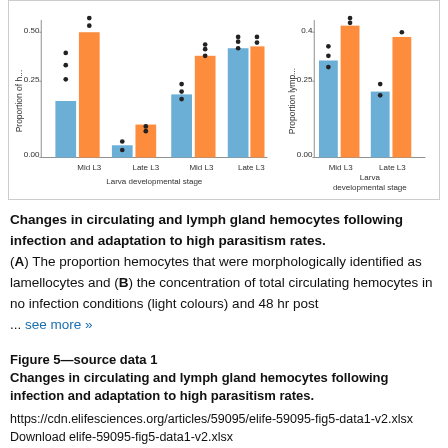[Figure (grouped-bar-chart): Two grouped bar charts showing proportion of hemocytes and proportion lymph gland values at Mid L3 and Late L3 larval developmental stages, with blue and orange bars and scatter points overlaid.]
Changes in circulating and lymph gland hemocytes following infection and adaptation to high parasitism rates. (A) The proportion hemocytes that were morphologically identified as lamellocytes and (B) the concentration of total circulating hemocytes in no infection conditions (light colours) and 48 hr post ... see more »
Figure 5—source data 1
Changes in circulating and lymph gland hemocytes following infection and adaptation to high parasitism rates.
https://cdn.elifesciences.org/articles/59095/elife-59095-fig5-data1-v2.xlsx
Download elife-59095-fig5-data1-v2.xlsx